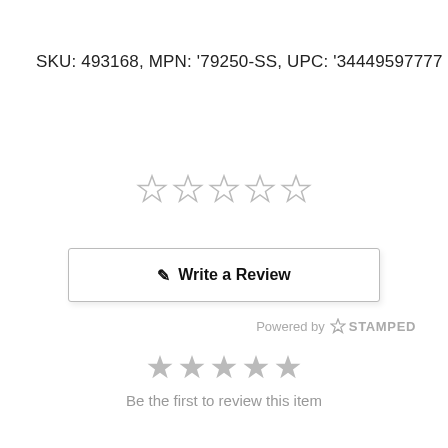SKU: 493168, MPN: '79250-SS, UPC: '34449597777
[Figure (other): Five empty/outline star rating widget]
Write a Review
Powered by STAMPED
[Figure (other): Five filled grey star rating display]
Be the first to review this item